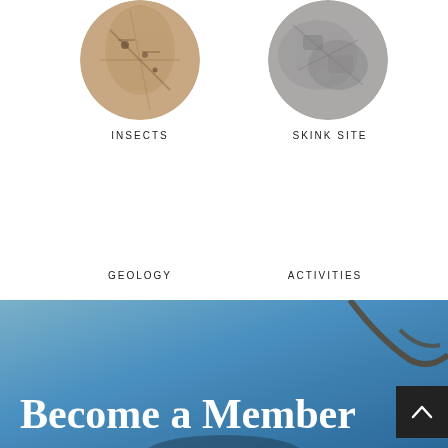[Figure (photo): Circular cropped photo of insects on bark/wood surface, top-left]
INSECTS
[Figure (photo): Circular cropped photo of a skink site showing rocky/bark texture, top-right]
SKINK SITE
GEOLOGY
ACTIVITIES
[Figure (photo): Background photo of blue sky with a tree branch, with large white bold text 'Become a Member' overlaid]
Become a Member